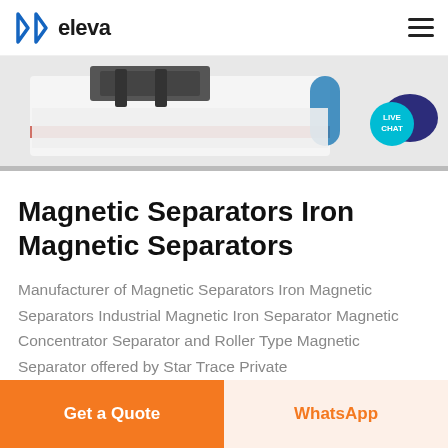eleva
[Figure (photo): Photo of industrial magnetic separator equipment with white granular material and colorful components]
Magnetic Separators Iron Magnetic Separators
Manufacturer of Magnetic Separators Iron Magnetic Separators Industrial Magnetic Iron Separator Magnetic Concentrator Separator and Roller Type Magnetic Separator offered by Star Trace Private Limited, Chennai, Tamil Nadu...
[Figure (infographic): Live Chat speech bubble icon in teal/dark blue]
Get a Quote | WhatsApp